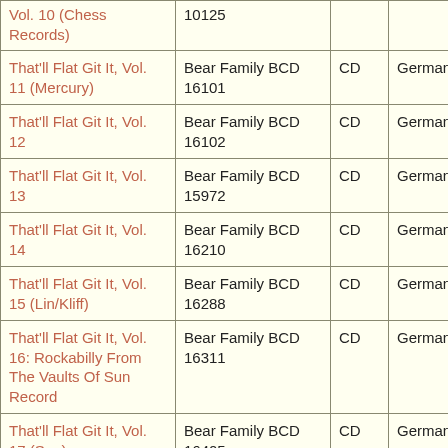| Title | Label | Format | Country |
| --- | --- | --- | --- |
| Vol. 10 (Chess Records) | 10125 |  |  |
| That'll Flat Git It, Vol. 11 (Mercury) | Bear Family BCD 16101 | CD | Germany |
| That'll Flat Git It, Vol. 12 | Bear Family BCD 16102 | CD | Germany |
| That'll Flat Git It, Vol. 13 | Bear Family BCD 15972 | CD | Germany |
| That'll Flat Git It, Vol. 14 | Bear Family BCD 16210 | CD | Germany |
| That'll Flat Git It, Vol. 15 (Lin/Kliff) | Bear Family BCD 16288 | CD | Germany |
| That'll Flat Git It, Vol. 16: Rockabilly From The Vaults Of Sun Record | Bear Family BCD 16311 | CD | Germany |
| That'll Flat Git It, Vol. 17 (Sun) | Bear Family BCD 16405 | CD | Germany |
| That'll Flat Git It, Vol. 18 (Sarg) | Bear Family BCD 16407 | CD | Germany |